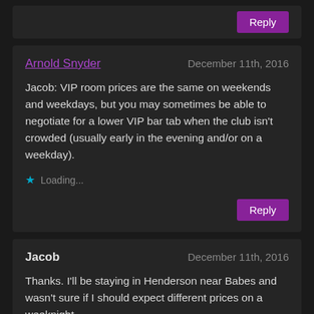Reply
Arnold Snyder — December 11th, 2016
Jacob: VIP room prices are the same on weekends and weekdays, but you may sometimes be able to negotiate for a lower VIP bar tab when the club isn't crowded (usually early in the evening and/or on a weekday).
Loading...
Reply
Jacob — December 11th, 2016
Thanks. I'll be staying in Henderson near Babes and wasn't sure if I should expect different prices on a weeknight.